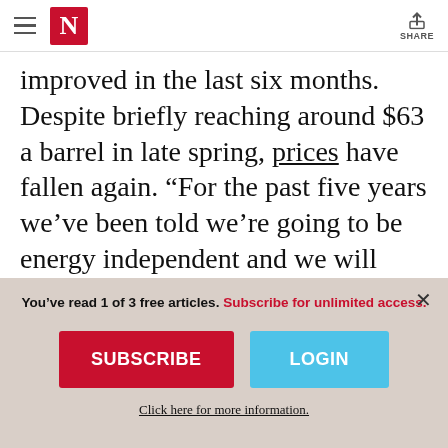N (Newsweek logo) | SHARE
improved in the last six months. Despite briefly reaching around $63 a barrel in late spring, prices have fallen again. “For the past five years we’ve been told we’re going to be energy independent and we will have all this oil and we’re going to export gas to Europe and we’re going to export gas to Asia, and it’s just not going to happen,” said Fridley.
You’ve read 1 of 3 free articles. Subscribe for unlimited access.
SUBSCRIBE
LOGIN
Click here for more information.